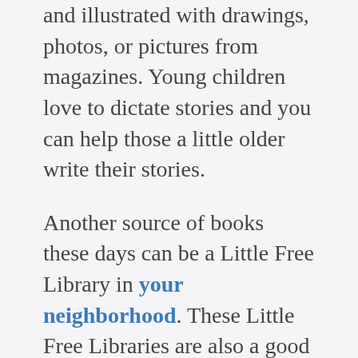and illustrated with drawings, photos, or pictures from magazines. Young children love to dictate stories and you can help those a little older write their stories.
Another source of books these days can be a Little Free Library in your neighborhood. These Little Free Libraries are also a good way to recycle books your children are ready to pass along to another child.
Since this is the holiday gift-giving season, I wanted to share an idea from one of the newspaper advice columnists. Her family